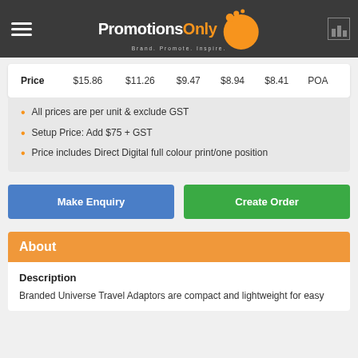PromotionsOnly — Brand. Promote. Inspire.
| Price | $15.86 | $11.26 | $9.47 | $8.94 | $8.41 | POA |
| --- | --- | --- | --- | --- | --- | --- |
All prices are per unit & exclude GST
Setup Price: Add $75 + GST
Price includes Direct Digital full colour print/one position
Make Enquiry
Create Order
About
Description
Branded Universe Travel Adaptors are compact and lightweight for easy